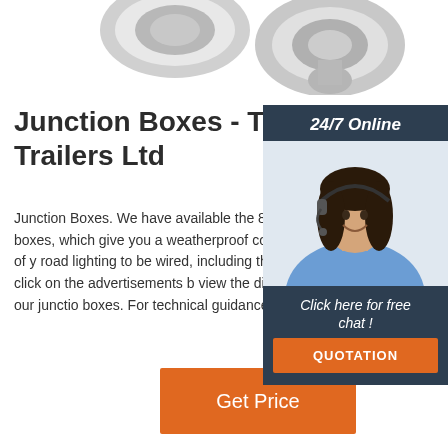[Figure (photo): Partial view of chrome/silver tow hitch or connector hardware components at the top of the page, cropped]
Junction Boxes - Towing Trailers Ltd
Junction Boxes. We have available the 8 w... 10 way junction boxes, which give you a weatherproof connection and allow all of y... road lighting to be wired, including the rev... light. Please click on the advertisements b... view the dimensions of each of our junctio... boxes. For technical guidance, please call... 473749.
[Figure (photo): Customer service representative woman wearing a headset, smiling, shown in the right-side panel overlay]
Click here for free chat !
QUOTATION
24/7 Online
Get Price